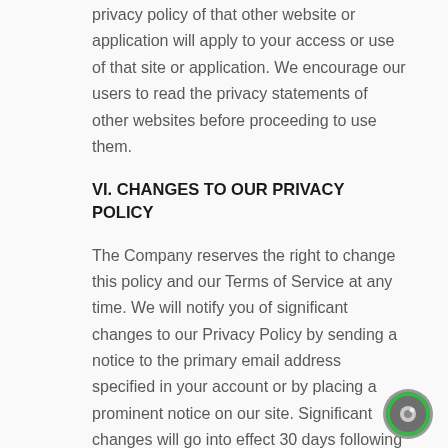privacy policy of that other website or application will apply to your access or use of that site or application. We encourage our users to read the privacy statements of other websites before proceeding to use them.
VI. CHANGES TO OUR PRIVACY POLICY
The Company reserves the right to change this policy and our Terms of Service at any time. We will notify you of significant changes to our Privacy Policy by sending a notice to the primary email address specified in your account or by placing a prominent notice on our site. Significant changes will go into effect 30 days following such notification. Non-material changes or clarifications will take effect immediately. You should periodically check